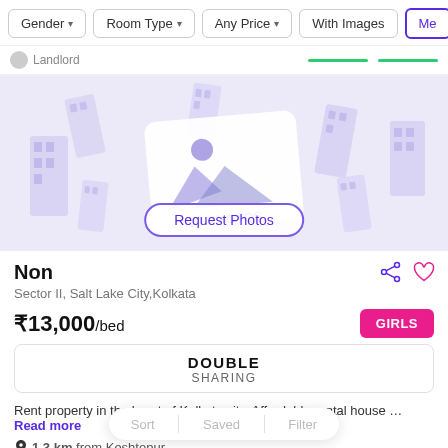Gender | Room Type | Any Price | With Images | Me
Landlord
[Figure (illustration): No Photos placeholder banner with building icons and a central image placeholder card showing 'NO PHOTOS' text, with a 'Request Photos' button below]
Non
Sector II, Salt Lake City,Kolkata
₹13,000/bed
GIRLS
DOUBLE
SHARING
Rent property in the heart of Kolkata city. Affordable rental house … Read more
1.3 km from Keshtopur
Sort   Saved   Filter